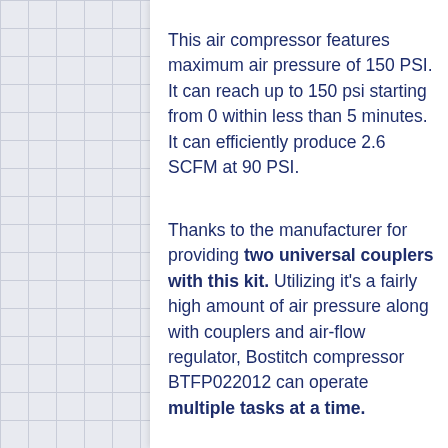This air compressor features maximum air pressure of 150 PSI. It can reach up to 150 psi starting from 0 within less than 5 minutes. It can efficiently produce 2.6 SCFM at 90 PSI.
Thanks to the manufacturer for providing two universal couplers with this kit. Utilizing it's a fairly high amount of air pressure along with couplers and air-flow regulator, Bostitch compressor BTFP022012 can operate multiple tasks at a time.